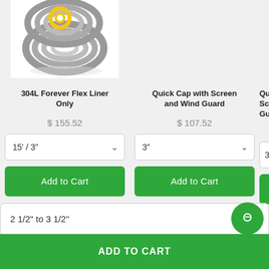[Figure (photo): Coiled flexible chimney liner (stainless steel) with yellow ring, shown at top-left of page.]
304L Forever Flex Liner Only
$ 155.52
15' / 3"
Add to Cart
Quick Cap with Screen and Wind Guard
$ 107.52
3"
Add to Cart
Quic Scr Guard
3"
2 1/2" to 3 1/2"
ADD TO CART